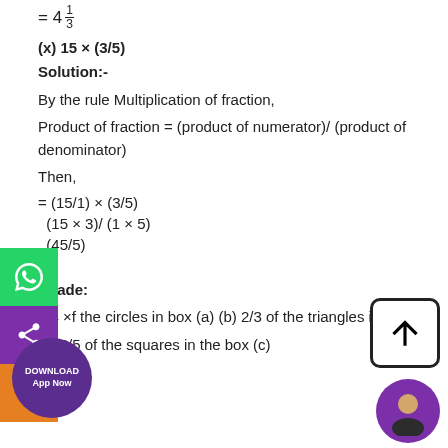(x) 15 × (3/5)
Solution:-
By the rule Multiplication of fraction,
Product of fraction = (product of numerator)/ (product of denominator)
Then,
Shade:
1/4 ×f the circles in box (a) (b) 2/3 of the triangles in box
(c) 3/5 of the squares in the box (c)